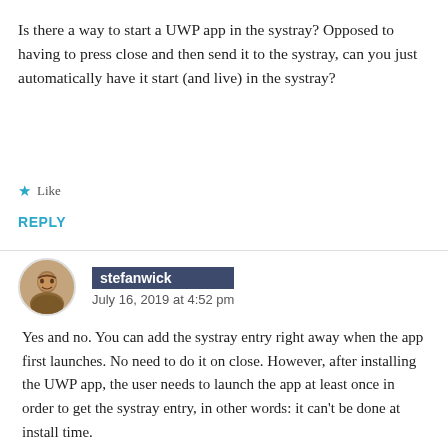Is there a way to start a UWP app in the systray? Opposed to having to press close and then send it to the systray, can you just automatically have it start (and live) in the systray?
★ Like
REPLY
stefanwick
July 16, 2019 at 4:52 pm
Yes and no. You can add the systray entry right away when the app first launches. No need to do it on close. However, after installing the UWP app, the user needs to launch the app at least once in order to get the systray entry, in other words: it can't be done at install time.